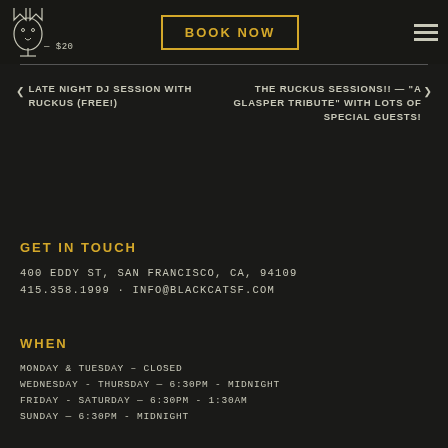BOOK NOW
< LATE NIGHT DJ SESSION WITH RUCKUS (FREE!)
THE RUCKUS SESSIONS!! — "A GLASPER TRIBUTE" WITH LOTS OF SPECIAL GUESTS! >
GET IN TOUCH
400 EDDY ST, SAN FRANCISCO, CA, 94109
415.358.1999 · INFO@BLACKCATSF.COM
WHEN
MONDAY & TUESDAY – CLOSED
WEDNESDAY - THURSDAY — 6:30PM - MIDNIGHT
FRIDAY - SATURDAY — 6:30PM - 1:30AM
SUNDAY — 6:30PM - MIDNIGHT